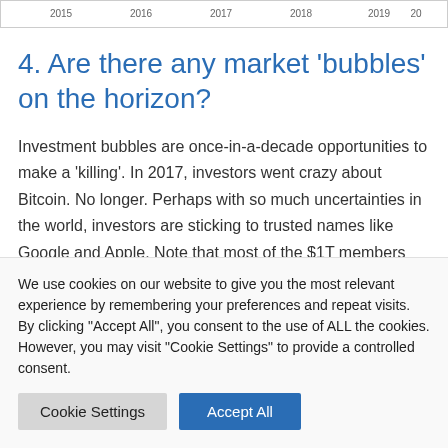[Figure (continuous-plot): Partial view of a financial time series chart showing years 2015, 2016, 2017, 2018, 2019, 2020 on x-axis, cropped at top]
4. Are there any market 'bubbles' on the horizon?
Investment bubbles are once-in-a-decade opportunities to make a 'killing'. In 2017, investors went crazy about Bitcoin. No longer. Perhaps with so much uncertainties in the world, investors are sticking to trusted names like Google and Apple. Note that most of the $1T members are tech stocks. With price momentum so skewed in favour of the bulls, buyers see no reason to abandon...
We use cookies on our website to give you the most relevant experience by remembering your preferences and repeat visits. By clicking "Accept All", you consent to the use of ALL the cookies. However, you may visit "Cookie Settings" to provide a controlled consent.